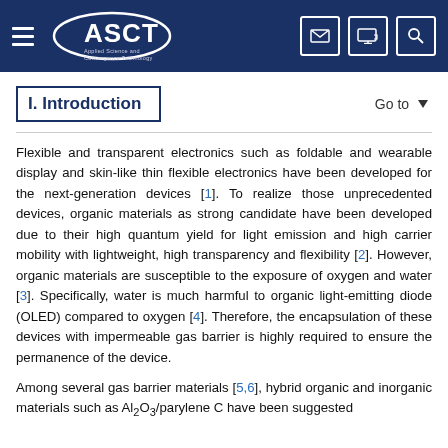ASCT — Applied Science and Convergence Technology
I. Introduction
Flexible and transparent electronics such as foldable and wearable display and skin-like thin flexible electronics have been developed for the next-generation devices [1]. To realize those unprecedented devices, organic materials as strong candidate have been developed due to their high quantum yield for light emission and high carrier mobility with lightweight, high transparency and flexibility [2]. However, organic materials are susceptible to the exposure of oxygen and water [3]. Specifically, water is much harmful to organic light-emitting diode (OLED) compared to oxygen [4]. Therefore, the encapsulation of these devices with impermeable gas barrier is highly required to ensure the permanence of the device.
Among several gas barrier materials [5,6], hybrid organic and inorganic materials such as Al₂O₃/parylene C have been suggested